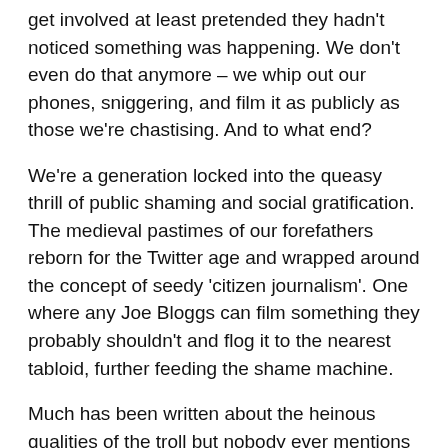get involved at least pretended they hadn't noticed something was happening. We don't even do that anymore – we whip out our phones, sniggering, and film it as publicly as those we're chastising. And to what end?
We're a generation locked into the queasy thrill of public shaming and social gratification. The medieval pastimes of our forefathers reborn for the Twitter age and wrapped around the concept of seedy 'citizen journalism'. One where any Joe Bloggs can film something they probably shouldn't and flog it to the nearest tabloid, further feeding the shame machine.
Much has been written about the heinous qualities of the troll but nobody ever mentions that we're all guilty of it, or at least accessories to it. We just do it by mob rule. Judge, jury and character executioners. We're all three, hidden by a 90 x 90 pixelated avatar. And we love it.